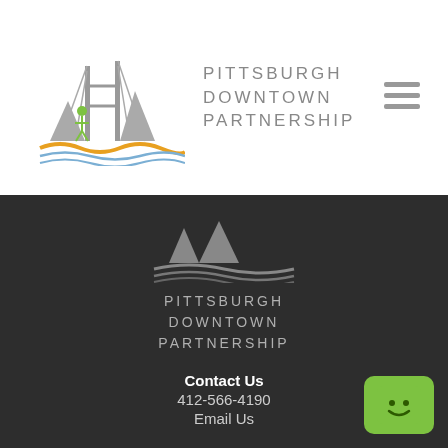[Figure (logo): Pittsburgh Downtown Partnership logo with bridge illustration and colored wave lines]
[Figure (logo): Pittsburgh Downtown Partnership logo (white/gray version on dark background) with bridge graphic and wave lines]
Contact Us
412-566-4190
Email Us
Pittsburgh Downtown Partnership
The Bank Tower
307 Fourth Avenue - Floor 2
Pittsburgh, PA 15222